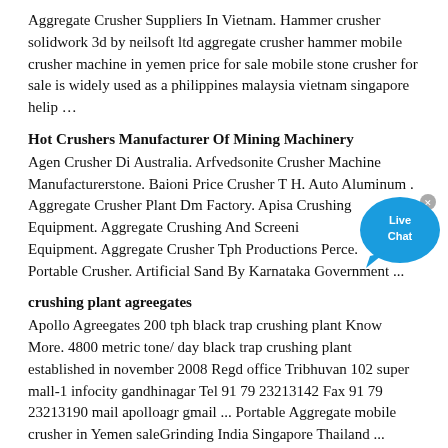Aggregate Crusher Suppliers In Vietnam. Hammer crusher solidwork 3d by neilsoft ltd aggregate crusher hammer mobile crusher machine in yemen price for sale mobile stone crusher for sale is widely used as a philippines malaysia vietnam singapore helip …
Hot Crushers Manufacturer Of Mining Machinery
Agen Crusher Di Australia. Arfvedsonite Crusher Machine Manufacturerstone. Baioni Price Crusher T H. Auto Aluminum . Aggregate Crusher Plant Dm Factory. Apisa Crushing Equipment. Aggregate Crushing And Screening Equipment. Aggregate Crusher Tph Productions Perce. Tph Portable Crusher. Artificial Sand By Karnataka Government ...
[Figure (illustration): Live Chat bubble widget with blue circular background, white text 'Live Chat', tail pointing down-left, and a small grey close button (x) in top-right corner.]
crushing plant agreegates
Apollo Agreegates 200 tph black trap crushing plant Know More. 4800 metric tone/ day black trap crushing plant established in november 2008 Regd office Tribhuvan 102 super mall-1 infocity gandhinagar Tel 91 79 23213142 Fax 91 79 23213190 mail apolloagr gmail ... Portable Aggregate mobile crusher in Yemen saleGrinding India Singapore Thailand ...
Static Cone Crusher
2021-9-7 · The ® TC Cone Crusher provides an excellent reduction and product cubicity for the production of high